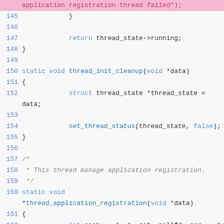application registration thread failed");
145     }
146
147         return thread_state->running;
148 }
149
150 static void thread_init_cleanup(void *data)
151 {
152         struct thread_state *thread_state =
data;
153
154         set_thread_status(thread_state, false);
155 }
156
157 /*
158  * This thread manage application registration.
159  */
160 static void
*thread_application_registration(void *data)
161 {
162         int sock = -1, i, ret, pollfd, err = -1;
163         uint32_t revents, nb_fd;
164         struct lttng_poll_event events;
165         /*
166          * Sets allocated in this thread